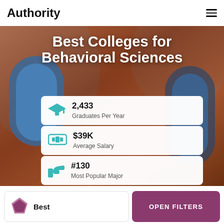Authority
Best Colleges for Behavioral Sciences
2,433 Graduates Per Year
$39K Average Salary
#130 Most Popular Major
Best
OPEN FILTERS
Most